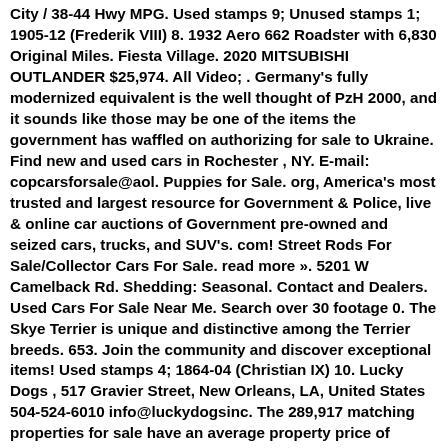City / 38-44 Hwy MPG. Used stamps 9; Unused stamps 1; 1905-12 (Frederik VIII) 8. 1932 Aero 662 Roadster with 6,830 Original Miles. Fiesta Village. 2020 MITSUBISHI OUTLANDER $25,974. All Video; . Germany's fully modernized equivalent is the well thought of PzH 2000, and it sounds like those may be one of the items the government has waffled on authorizing for sale to Ukraine. Find new and used cars in Rochester , NY. E-mail: copcarsforsale@aol. Puppies for Sale. org, America's most trusted and largest resource for Government & Police, live & online car auctions of Government pre-owned and seized cars, trucks, and SUV's. com! Street Rods For Sale/Collector Cars For Sale. read more ». 5201 W Camelback Rd. Shedding: Seasonal. Contact and Dealers. Used Cars For Sale Near Me. Search over 30 footage 0. The Skye Terrier is unique and distinctive among the Terrier breeds. 653. Join the community and discover exceptional items! Used stamps 4; 1864-04 (Christian IX) 10. Lucky Dogs , 517 Gravier Street, New Orleans, LA, United States 504-524-6010 info@luckydogsinc. The 289,917 matching properties for sale have an average property price of $429,377 and price per acre of $19,874. Arizona. But you will not find large cats, bears, zebras, foxes or other large exotics at a pet store. Like everything we make at Wilczek Woodworks, our dog carts are hand built to order, and carefully crafted. We are one of the largest hot dog cart business retailers on the internet learn